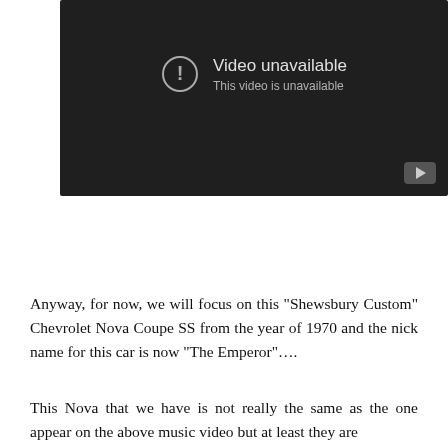[Figure (screenshot): YouTube video player showing 'Video unavailable' error message on a dark background. An exclamation mark circle icon is shown with text 'Video unavailable' and 'This video is unavailable'. A YouTube play button icon is visible in the bottom right corner.]
Anyway, for now, we will focus on this "Shewsbury Custom" Chevrolet Nova Coupe SS from the year of 1970 and the nick name for this car is now "The Emperor"….
This Nova that we have is not really the same as the one appear on the above music video but at least they are